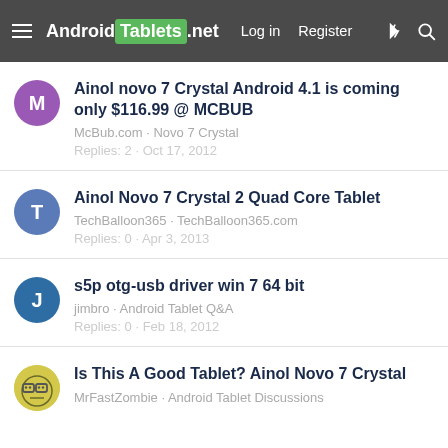Android Tablets .net  Log in  Register
Ainol novo 7 Crystal Android 4.1 is coming only $116.99 @ MCBUB
McBub.com · Novo 7 Crystal
Replies: 2 · Oct 17, 2012
Ainol Novo 7 Crystal 2 Quad Core Tablet
TechBalloon365 · TechBalloon365.com
Replies: 0 · Apr 3, 2013
s5p otg-usb driver win 7 64 bit
jimbro · Android Tablet Q&A
Replies: 0 · Feb 18, 2012
Is This A Good Tablet? Ainol Novo 7 Crystal
MrFastZombie · Android Tablet Discussions